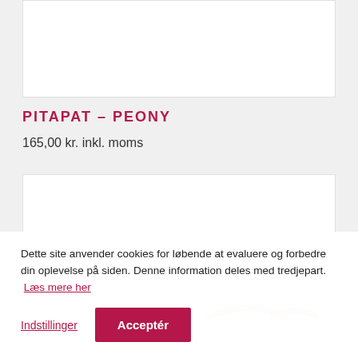[Figure (photo): White product card area at top of page]
PITAPAT – PEONY
165,00 kr. inkl. moms
[Figure (photo): White product card with partial arc/ring shapes visible at bottom]
Dette site anvender cookies for løbende at evaluere og forbedre din oplevelse på siden. Denne information deles med tredjepart. Læs mere her
Indstillinger
Acceptér